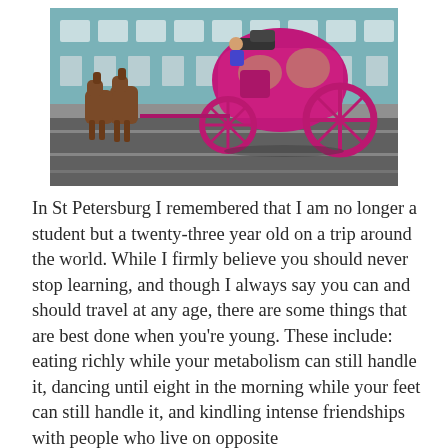[Figure (photo): A bright pink/magenta horse-drawn carriage on a street in St Petersburg, Russia. Two brown horses are harnessed to the ornate carriage. A classical teal/green building is visible in the background. The street has white lane markings.]
In St Petersburg I remembered that I am no longer a student but a twenty-three year old on a trip around the world. While I firmly believe you should never stop learning, and though I always say you can and should travel at any age, there are some things that are best done when you're young. These include: eating richly while your metabolism can still handle it, dancing until eight in the morning while your feet can still handle it, and kindling intense friendships with people who live on opposite